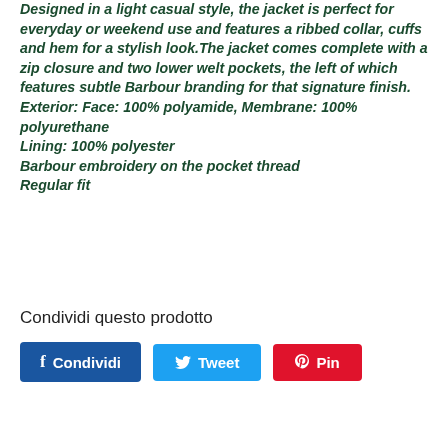Designed in a light casual style, the jacket is perfect for everyday or weekend use and features a ribbed collar, cuffs and hem for a stylish look.The jacket comes complete with a zip closure and two lower welt pockets, the left of which features subtle Barbour branding for that signature finish.
Exterior: Face: 100% polyamide, Membrane: 100% polyurethane
Lining: 100% polyester
Barbour embroidery on the pocket thread
Regular fit
Condividi questo prodotto
Condividi | Tweet | Pin